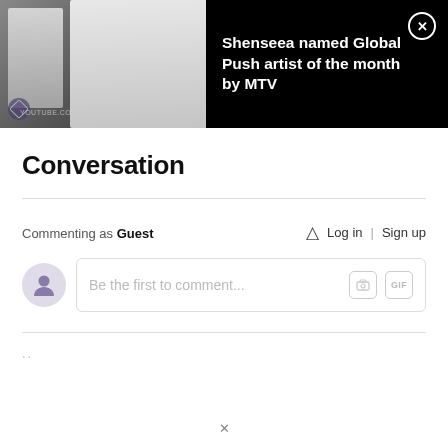[Figure (screenshot): Video thumbnail showing a man with beard in white hoodie and a woman in black and white photo, with YouTube watermark text YOUTUBE.COM/ALLINPTIOPTV]
Shenseea named Global Push artist of the month by MTV
Conversation
Commenting as Guest
Log in | Sign up
Be the first to comment...
..